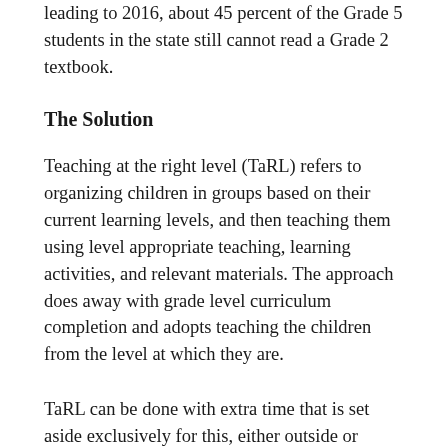leading to 2016, about 45 percent of the Grade 5 students in the state still cannot read a Grade 2 textbook.
The Solution
Teaching at the right level (TaRL) refers to organizing children in groups based on their current learning levels, and then teaching them using level appropriate teaching, learning activities, and relevant materials. The approach does away with grade level curriculum completion and adopts teaching the children from the level at which they are.
TaRL can be done with extra time that is set aside exclusively for this, either outside or within the existing school time ('scaled' form of TaRL intervention).